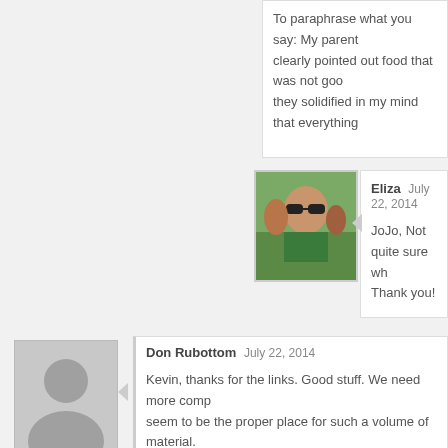To paraphrase what you say: My parents clearly pointed out food that was not goo they solidified in my mind that everything
[Figure (photo): Profile photo of Eliza - person wearing sunglasses outdoors]
Eliza July 22, 2014
JoJo, Not quite sure wh Thank you!
[Figure (photo): Default grey silhouette avatar for Don Rubottom]
back to top ↑
Don Rubottom July 22, 2014
Kevin, thanks for the links. Good stuff. We need more comp seem to be the proper place for such a volume of material.
[Figure (photo): Default grey silhouette avatar for Tom Cee]
Tom Cee July 23, 2014
After we had a handicapped child, my wife was done havin themselves and Christians be fruitful. I am thankful for the f

Reading Psalms, Proverbs and more each morning with th